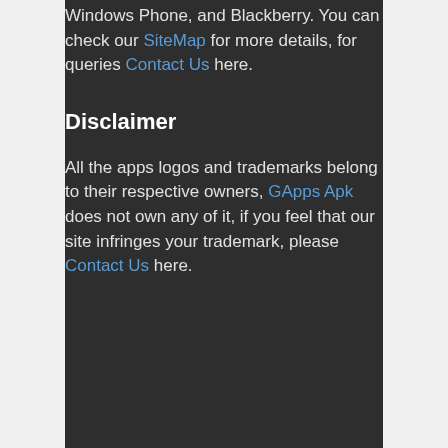Windows Phone, and Blackberry. You can check our SiteMap for more details, for queries Contact Us here.
Disclaimer
All the apps logos and trademarks belong to their respective owners, GApps Apk does not own any of it, if you feel that our site infringes your trademark, please Contact Us here.